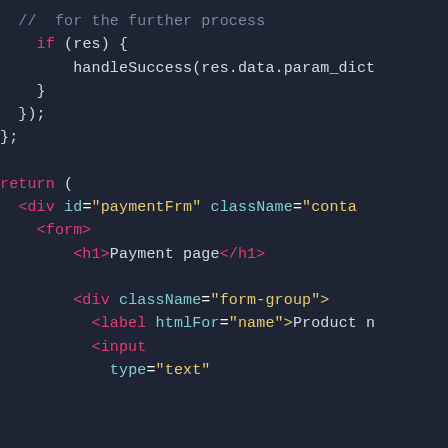[Figure (screenshot): Code editor screenshot showing JavaScript/JSX code with syntax highlighting on dark background. Code shows an if block with handleSuccess call, closing braces, a return statement with JSX including div, form, h1, div, label, and input elements with attributes.]